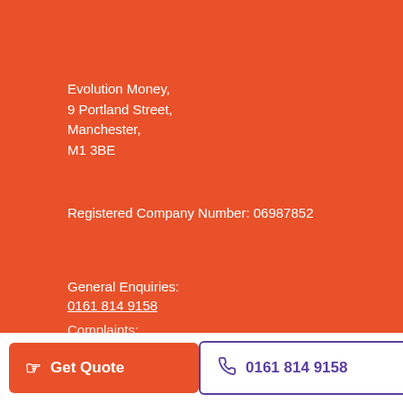Evolution Money,
9 Portland Street,
Manchester,
M1 3BE
Registered Company Number: 06987852
General Enquiries:
0161 814 9158
Complaints:
Get Quote
0161 814 9158